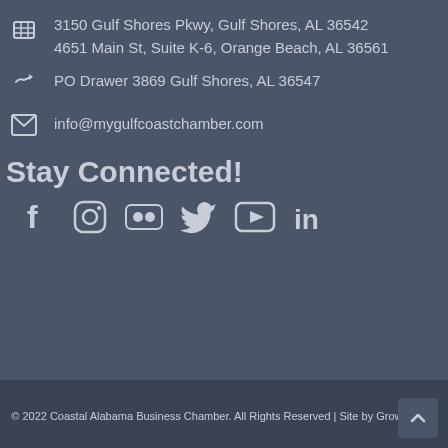3150 Gulf Shores Pkwy, Gulf Shores, AL 36542
4651 Main St, Suite K-6, Orange Beach, AL 36561
PO Drawer 3869 Gulf Shores, AL 36547
info@mygulfcoastchamber.com
Stay Connected!
[Figure (other): Social media icons: Facebook, Instagram, Flickr, Twitter, YouTube, LinkedIn]
© 2022 Coastal Alabama Business Chamber.  All Rights Reserved | Site by GrowthZone